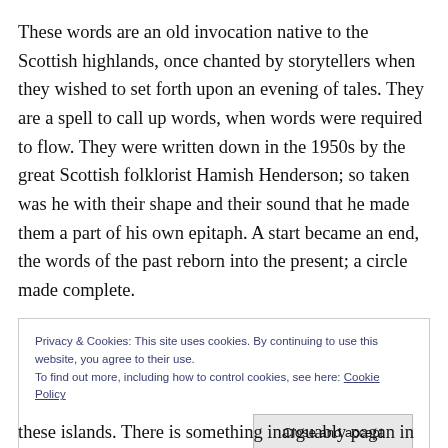These words are an old invocation native to the Scottish highlands, once chanted by storytellers when they wished to set forth upon an evening of tales. They are a spell to call up words, when words were required to flow. They were written down in the 1950s by the great Scottish folklorist Hamish Henderson; so taken was he with their shape and their sound that he made them a part of his own epitaph. A start became an end, the words of the past reborn into the present; a circle made complete.
Privacy & Cookies: This site uses cookies. By continuing to use this website, you agree to their use. To find out more, including how to control cookies, see here: Cookie Policy
Close and accept
these islands. There is something inarguably pagan in